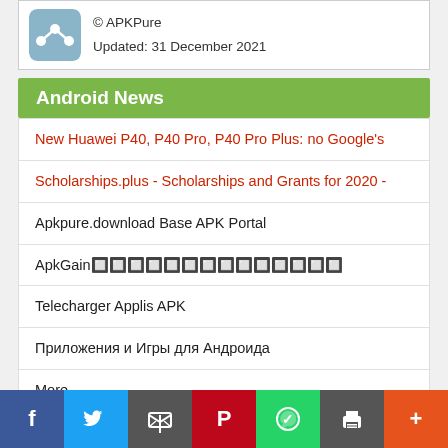[Figure (screenshot): APKPure app icon - share icon on blue-grey background]
© APKPure
Updated: 31 December 2021
Android News
New Huawei P40, P40 Pro, P40 Pro Plus: no Google's
Scholarships.plus - Scholarships and Grants for 2020 -
Apkpure.download Base APK Portal
ApkGain🔲🔲🔲🔲🔲🔲🔲🔲🔲🔲🔲🔲🔲🔲
Telecharger Applis APK
Приложения и Игры для Андроида
More...
Contact Us  Privacy Policy  DMCA Policy  FB  TW  G+
[Figure (infographic): Social share bar with Facebook, Twitter, Email, Pinterest, WhatsApp, Print, and More buttons]